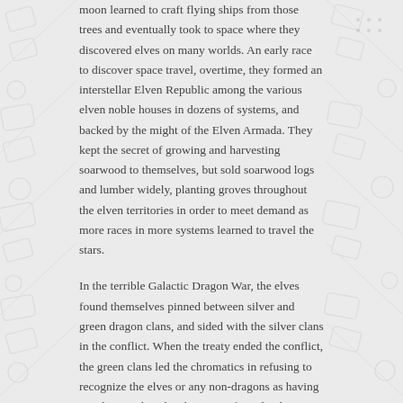moon learned to craft flying ships from those trees and eventually took to space where they discovered elves on many worlds. An early race to discover space travel, overtime, they formed an interstellar Elven Republic among the various elven noble houses in dozens of systems, and backed by the might of the Elven Armada. They kept the secret of growing and harvesting soarwood to themselves, but sold soarwood logs and lumber widely, planting groves throughout the elven territories in order to meet demand as more races in more systems learned to travel the stars.
In the terrible Galactic Dragon War, the elves found themselves pinned between silver and green dragon clans, and sided with the silver clans in the conflict. When the treaty ended the conflict, the green clans led the chromatics in refusing to recognize the elves or any non-dragons as having standing, and so the elves were forced to become a client of the silver clans, a slight they have not forgotten.